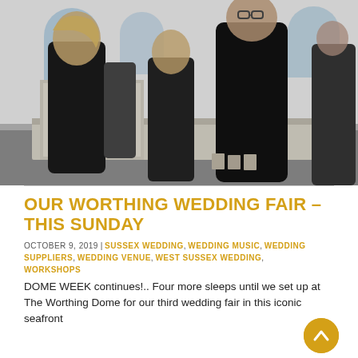[Figure (photo): Black and white photograph of people at a wedding fair inside a venue with arched windows. Several people are standing around, some holding drinks. A counter/display area is visible in the foreground with cups on it.]
OUR WORTHING WEDDING FAIR – THIS SUNDAY
OCTOBER 9, 2019 | SUSSEX WEDDING, WEDDING MUSIC, WEDDING SUPPLIERS, WEDDING VENUE, WEST SUSSEX WEDDING, WORKSHOPS
DOME WEEK continues!.. Four more sleeps until we set up at The Worthing Dome for our third wedding fair in this iconic seafront